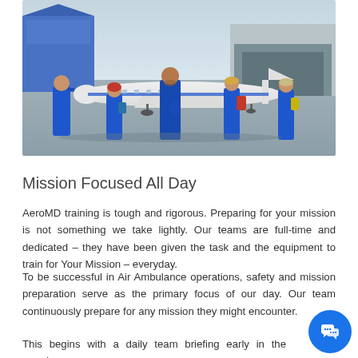[Figure (photo): Five people in blue flight suits/jumpsuits walking in front of a private jet on an airport tarmac, with a hangar visible in the background. The group includes four adults walking together, one talking on a phone, one carrying medical equipment.]
Mission Focused All Day
AeroMD training is tough and rigorous. Preparing for your mission is not something we take lightly. Our teams are full-time and dedicated – they have been given the task and the equipment to train for Your Mission – everyday.
To be successful in Air Ambulance operations, safety and mission preparation serve as the primary focus of our day. Our team continuously prepare for any mission they might encounter.
This begins with a daily team briefing early in the morning,